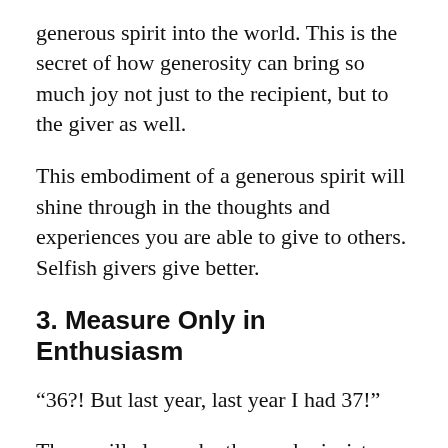generous spirit into the world. This is the secret of how generosity can bring so much joy not just to the recipient, but to the giver as well.
This embodiment of a generous spirit will shine through in the thoughts and experiences you are able to give to others. Selfish givers give better.
3. Measure Only in Enthusiasm
“36?! But last year, last year I had 37!”
There will always be those who insist on